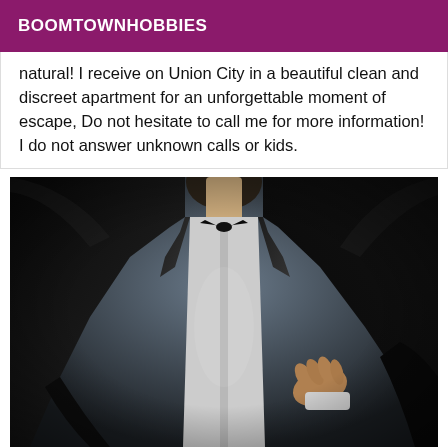BOOMTOWNHOBBIES
natural! I receive on Union City in a beautiful clean and discreet apartment for an unforgettable moment of escape, Do not hesitate to call me for more information! I do not answer unknown calls or kids.
[Figure (photo): A man in a black tuxedo with a bow tie, face cropped out, photographed against a dark background.]